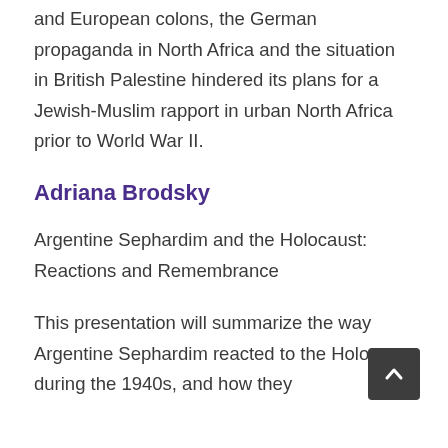and European colons, the German propaganda in North Africa and the situation in British Palestine hindered its plans for a Jewish-Muslim rapport in urban North Africa prior to World War II.
Adriana Brodsky
Argentine Sephardim and the Holocaust: Reactions and Remembrance
This presentation will summarize the way Argentine Sephardim reacted to the Holocaust during the 1940s, and how they